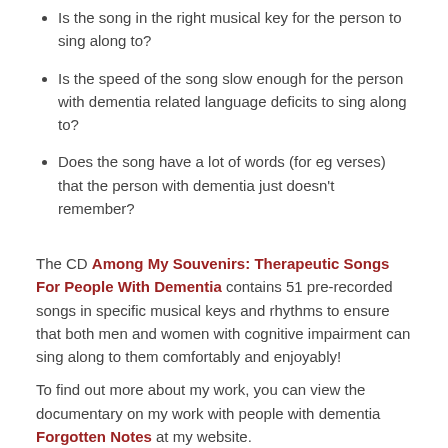Is the song in the right musical key for the person to sing along to?
Is the speed of the song slow enough for the person with dementia related language deficits to sing along to?
Does the song have a lot of words (for eg verses) that the person with dementia just doesn't remember?
The CD Among My Souvenirs: Therapeutic Songs For People With Dementia contains 51 pre-recorded songs in specific musical keys and rhythms to ensure that both men and women with cognitive impairment can sing along to them comfortably and enjoyably!
To find out more about my work, you can view the documentary on my work with people with dementia Forgotten Notes at my website.
Another Music Therapy Technique is Song Writing, which I have used very effectively with carers of people with